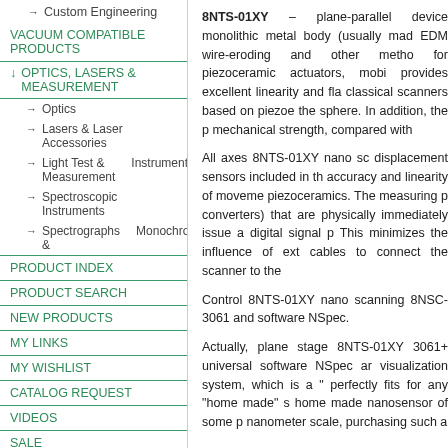→ Custom Engineering
VACUUM COMPATIBLE PRODUCTS
↓ OPTICS, LASERS & MEASUREMENT
→ Optics
→ Lasers & Laser Accessories
→ Light Test & Measurement Instruments
→ Spectroscopic Instruments
→ Spectrographs & Monochromators
PRODUCT INDEX
PRODUCT SEARCH
NEW PRODUCTS
MY LINKS
MY WISHLIST
CATALOG REQUEST
VIDEOS
SALE
My Account
User Name / email:
8NTS-01XY – plane-parallel device monolithic metal body (usually made EDM wire-eroding and other metho for piezoceramic actuators, mobi provides excellent linearity and fla classical scanners based on piezoe the sphere. In addition, the p mechanical strength, compared with
All axes 8NTS-01XY nano sc displacement sensors included in th accuracy and linearity of moveme piezoceramics. The measuring p converters) that are physically immediately issue a digital signal p This minimizes the influence of ext cables to connect the scanner to the
Control 8NTS-01XY nano scanning 8NSC-3061 and software NSpec.
Actually, plane stage 8NTS-01XY 3061+ universal software NSpec ar visualization system, which is a " perfectly fits for any "home made" s home made nanosensor of some p nanometer scale, purchasing such a